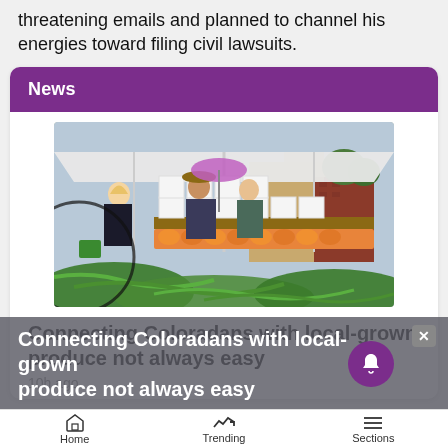threatening emails and planned to channel his energies toward filing civil lawsuits.
News
[Figure (photo): Outdoor farmer's market scene with people browsing produce under a white canopy tent. Green vegetables in the foreground, white boxes stacked on a table, buildings in the background.]
Connecting Coloradans with local-grown produce not always easy
10h ago
Home   Trending   Sections